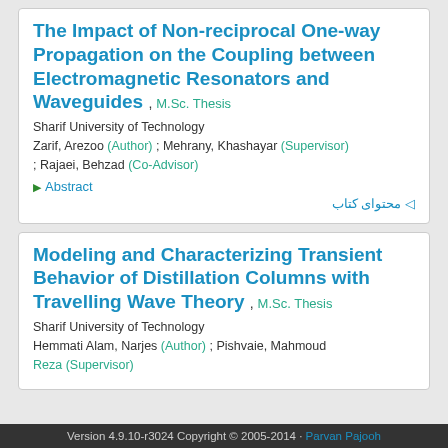The Impact of Non-reciprocal One-way Propagation on the Coupling between Electromagnetic Resonators and Waveguides , M.Sc. Thesis
Sharif University of Technology
Zarif, Arezoo (Author) ; Mehrany, Khashayar (Supervisor) ; Rajaei, Behzad (Co-Advisor)
▶ Abstract
محتوای کتاب
Modeling and Characterizing Transient Behavior of Distillation Columns with Travelling Wave Theory , M.Sc. Thesis
Sharif University of Technology
Hemmati Alam, Narjes (Author) ; Pishvaie, Mahmoud Reza (Supervisor)
Version 4.9.10-r3024 Copyright © 2005-2014 · Parvan Pajooh